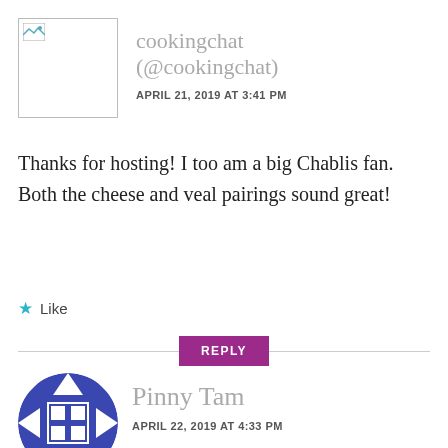[Figure (photo): Avatar image placeholder with small landscape icon, inside a bordered box]
cookingchat (@cookingchat)
APRIL 21, 2019 AT 3:41 PM
Thanks for hosting! I too am a big Chablis fan. Both the cheese and veal pairings sound great!
Like
REPLY
[Figure (logo): Circular blue geometric quilt-pattern avatar for Pinny Tam]
Pinny Tam
APRIL 22, 2019 AT 4:33 PM
Thanks for organizing the Chablis